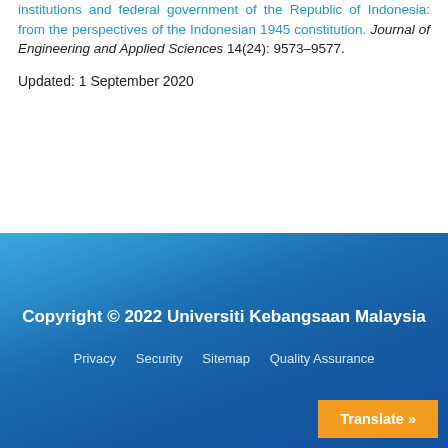institutions and federal government of the Republic of Indonesia: from the perspectives of the Indonesian 1945 constitution. Journal of Engineering and Applied Sciences 14(24): 9573-9577.
Updated: 1 September 2020
Copyright © 2022 Universiti Kebangsaan Malaysia
Privacy   Security   Sitemap   Quality Assurance